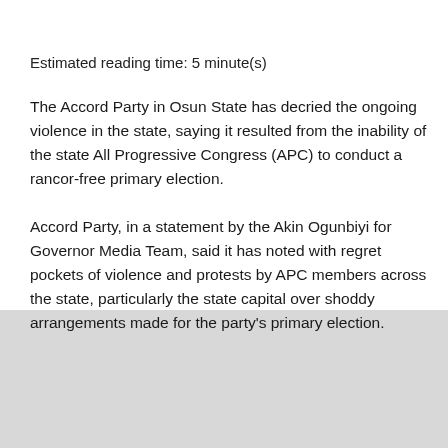Estimated reading time: 5 minute(s)
The Accord Party in Osun State has decried the ongoing violence in the state, saying it resulted from the inability of the state All Progressive Congress (APC) to conduct a rancor-free primary election.
Accord Party, in a statement by the Akin Ogunbiyi for Governor Media Team, said it has noted with regret pockets of violence and protests by APC members across the state, particularly the state capital over shoddy arrangements made for the party’s primary election.